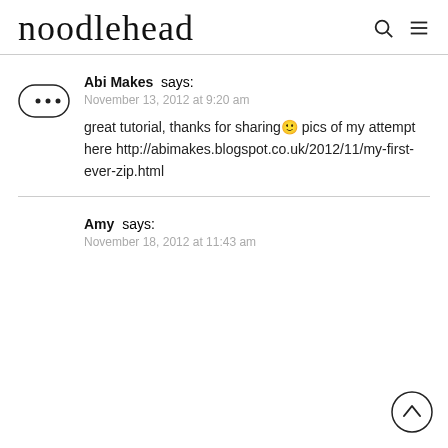noodlehead
Abi Makes says:
November 13, 2012 at 9:20 am
great tutorial, thanks for sharing  pics of my attempt here http://abimakes.blogspot.co.uk/2012/11/my-first-ever-zip.html
Amy says:
November 18, 2012 at 11:43 am